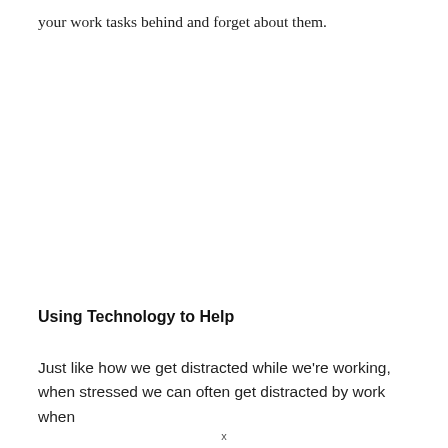your work tasks behind and forget about them.
Using Technology to Help
Just like how we get distracted while we're working, when stressed we can often get distracted by work when
x